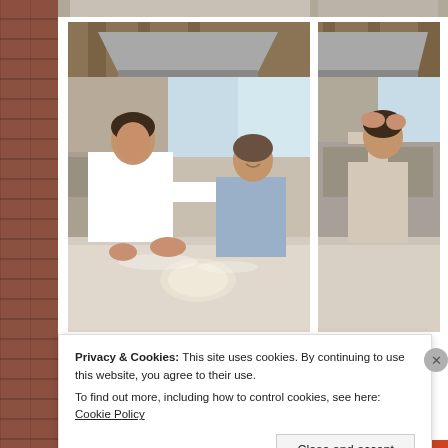[Figure (photo): Top partial photo strip showing kitchen/cooking scene]
[Figure (photo): Left photo: Two women in a kitchen, one in white coat kneading dough on a marble counter, the other in a light blue shirt watching; wooden ceiling beams, large windows, professional kitchen equipment visible]
[Figure (photo): Right photo: Partial view of the same kitchen scene, another person with raised arms near kitchen equipment]
Privacy & Cookies: This site uses cookies. By continuing to use this website, you agree to their use.
To find out more, including how to control cookies, see here: Cookie Policy
Close and accept